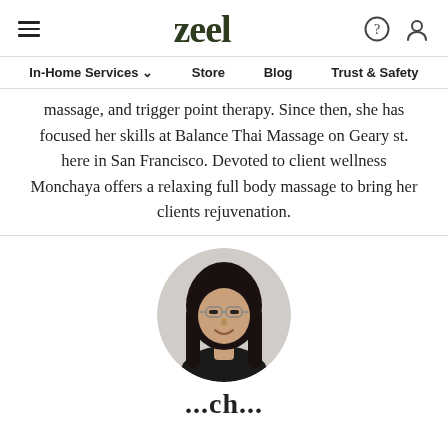zeel
In-Home Services   Store   Blog   Trust & Safety
massage, and trigger point therapy. Since then, she has focused her skills at Balance Thai Massage on Geary st. here in San Francisco. Devoted to client wellness Monchaya offers a relaxing full body massage to bring her clients rejuvenation.
[Figure (photo): Circular profile photo of a young woman with long dark hair and glasses, wearing a black top, smiling.]
...ch...